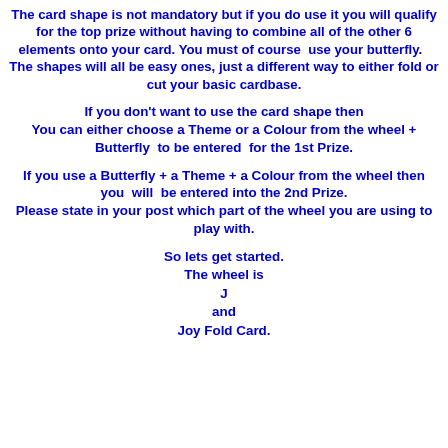The card shape is not mandatory but if you do use it you will qualify for the top prize without having to combine all of the other 6 elements onto your card. You must of course use your butterfly. The shapes will all be easy ones, just a different way to either fold or cut your basic cardbase.
If you don't want to use the card shape then You can either choose a Theme or a Colour from the wheel + Butterfly to be entered for the 1st Prize.
If you use a Butterfly + a Theme + a Colour from the wheel then you will be entered into the 2nd Prize. Please state in your post which part of the wheel you are using to play with.
So lets get started.
The wheel is
J
and
Joy Fold Card.